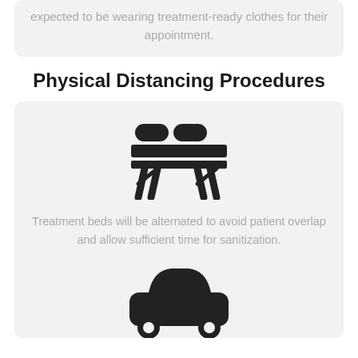expected to be wearing treatment-ready clothes for their appointment.
Physical Distancing Procedures
[Figure (illustration): Icon of a massage/treatment table with two headrests]
Treatment beds will be alternated to avoid patient overlap and allow sufficient time for sanitization.
[Figure (illustration): Icon of a car (vehicle)]